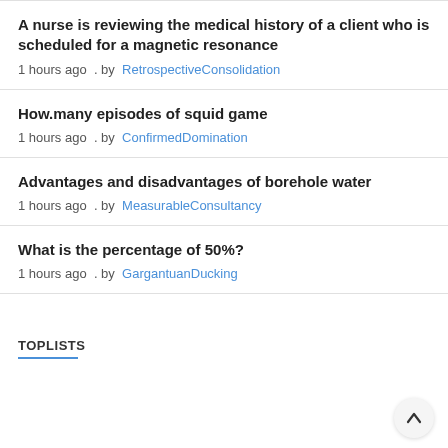A nurse is reviewing the medical history of a client who is scheduled for a magnetic resonance
1 hours ago . by RetrospectiveConsolidation
How.many episodes of squid game
1 hours ago . by ConfirmedDomination
Advantages and disadvantages of borehole water
1 hours ago . by MeasurableConsultancy
What is the percentage of 50%?
1 hours ago . by GargantuanDucking
TOPLISTS